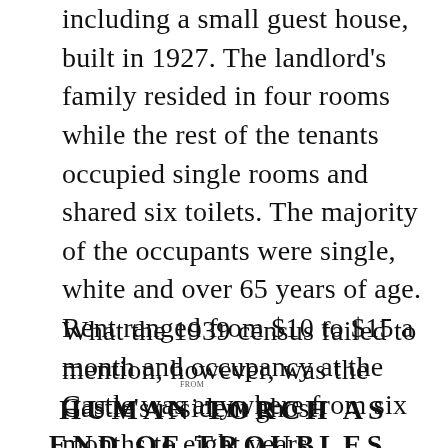including a small guest house, built in 1927. The landlord's family resided in four rooms while the rest of the tenants occupied single rooms and shared six toilets. The majority of the occupants were single, white and over 65 years of age. Rent ranged from $10 to $15 a month and occupancy at the Castle was anywhere from six months to eight years.
What the 1939 census failed to mention, however, was the Castle's resident ghost.
FROM
HUMAN TORCH AS END OF TROUBLES.